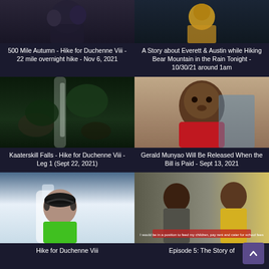[Figure (screenshot): Thumbnail for hiking video – dark outdoor scene]
500 Mile Autumn - Hike for Duchenne Viii - 22 mile overnight hike - Nov 6, 2021
[Figure (screenshot): Thumbnail for Bear Mountain hiking video – person in yellow jacket]
A Story about Everett & Austin while Hiking Bear Mountain in the Rain Tonight - 10/30/21 around 1am
[Figure (screenshot): Thumbnail for Kaaterskill Falls – waterfall and foliage]
Kaaterskill Falls - Hike for Duchenne Viii - Leg 1 (Sept 22, 2021)
[Figure (screenshot): Thumbnail for Gerald Munyao – young boy in red shirt]
Gerald Munyao Will Be Released When the Bill is Paid - Sept 13, 2021
[Figure (screenshot): Thumbnail – man with cap near waterfall in green jacket]
Hike for Duchenne Viii
[Figure (screenshot): Thumbnail – two women, one in yellow, outdoors]
Episode 5: The Story of